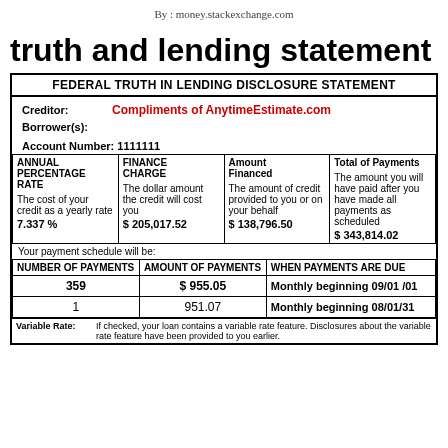By : money.stackexchange.com
truth and lending statement
FEDERAL TRUTH IN LENDING DISCLOSURE STATEMENT
Creditor: Compliments of AnytimeEstimate.com
Borrower(s):
Account Number: 1111111
| ANNUAL PERCENTAGE RATE | FINANCE CHARGE | Amount Financed | Total of Payments |
| --- | --- | --- | --- |
| The cost of your credit as a yearly rate | The dollar amount the credit will cost you | The amount of credit provided to you or on your behalf | The amount you will have paid after you have made all payments as scheduled |
| 7.337 % | $ 205,017.52 | $ 138,796.50 | $ 343,814.02 |
Your payment schedule will be:
| NUMBER OF PAYMENTS | AMOUNT OF PAYMENTS | WHEN PAYMENTS ARE DUE |
| --- | --- | --- |
| 359 | $ 955.05 | Monthly beginning 09/01 /01 |
| 1 | 951.07 | Monthly beginning 08/01/31 |
Variable Rate: If checked, your loan contains a variable rate feature. Disclosures about the variable rate feature have been provided to you earlier.